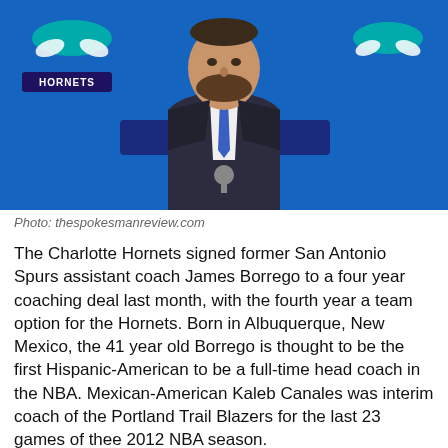[Figure (photo): A man in a dark suit with a blue tie sitting at a press conference in front of a Charlotte Hornets backdrop (blue background with Hornets logo and wordmark). He has a beard and is looking slightly downward.]
Photo: thespokesmanreview.com
The Charlotte Hornets signed former San Antonio Spurs assistant coach James Borrego to a four year coaching deal last month, with the fourth year a team option for the Hornets. Born in Albuquerque, New Mexico, the 41 year old Borrego is thought to be the first Hispanic-American to be a full-time head coach in the NBA. Mexican-American Kaleb Canales was interim coach of the Portland Trail Blazers for the last 23 games of thee 2012 NBA season.
Since 2003, Borrego has worked as an assistant coach for the Magic, Pelicans and Spurs. He became interim